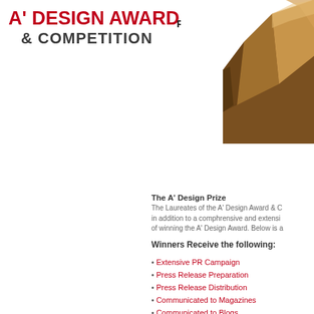A' DESIGN AWARD & COMPETITION
PRELIMINARY DEADLINE 0
[Figure (photo): Bronze/gold metallic trophy award statue, angular geometric shape, partially cropped at right edge of page]
The A' Design Prize
The Laureates of the A' Design Award & C in addition to a comphrensive and extensi of winning the A' Design Award. Below is a
Winners Receive the following:
Extensive PR Campaign
Press Release Preparation
Press Release Distribution
Communicated to Magazines
Communicated to Blogs